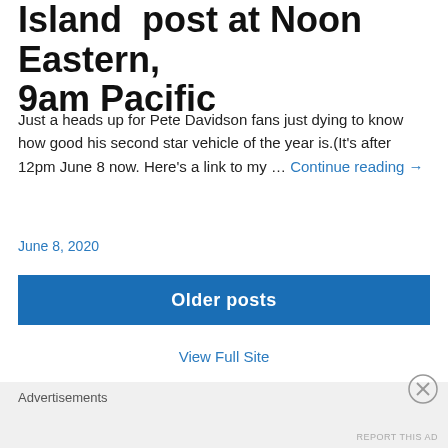Island  post at Noon Eastern, 9am Pacific
Just a heads up for Pete Davidson fans just dying to know how good his second star vehicle of the year is.(It's after 12pm June 8 now. Here's a link to my … Continue reading →
June 8, 2020
Older posts
View Full Site
Advertisements
REPORT THIS AD